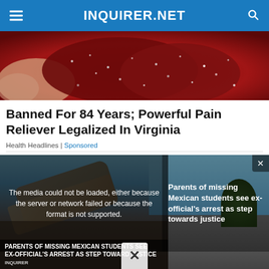INQUIRER.NET
[Figure (photo): Close-up of a dark red sugary/crystallized food item (candy or pain relief product) held in fingers, with a sparkling granular texture.]
Banned For 84 Years; Powerful Pain Reliever Legalized In Virginia
Health Headlines | Sponsored
[Figure (photo): News article image showing an overturned vehicle (truck) scene, possibly a protest. Overlaid with a media error message: 'The media could not be loaded, either because the server or network failed or because the format is not supported.' Right side shows text: 'Parents of missing Mexican students see ex-official's arrest as step towards justice'. Bottom left banner reads: 'PARENTS OF MISSING MEXICAN STUDENTS SEE EX-OFFICIAL'S ARREST AS STEP TOWARD JUSTICE INQUIRER'. A close (X) button is visible.]